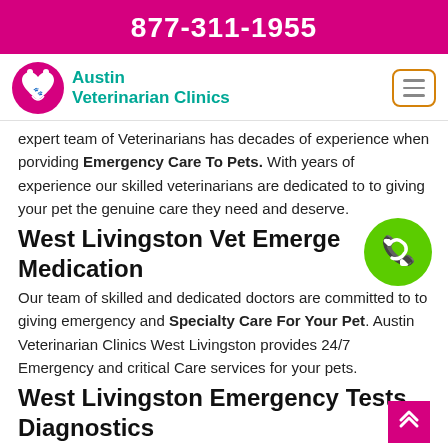877-311-1955
[Figure (logo): Austin Veterinarian Clinics logo with heart and paw icon]
expert team of Veterinarians has decades of experience when porviding Emergency Care To Pets. With years of experience our skilled veterinarians are dedicated to to giving your pet the genuine care they need and deserve.
West Livingston Vet Emerge Medication
Our team of skilled and dedicated doctors are committed to to giving emergency and Specialty Care For Your Pet. Austin Veterinarian Clinics West Livingston provides 24/7 Emergency and critical Care services for your pets.
West Livingston Emergency Tests Diagnostics